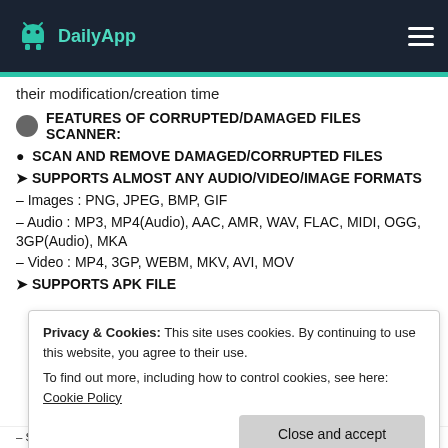DailyApp
their modification/creation time
FEATURES OF CORRUPTED/DAMAGED FILES SCANNER:
• SCAN AND REMOVE DAMAGED/CORRUPTED FILES
➤ SUPPORTS ALMOST ANY AUDIO/VIDEO/IMAGE FORMATS
– Images : PNG, JPEG, BMP, GIF
– Audio : MP3, MP4(Audio), AAC, AMR, WAV, FLAC, MIDI, OGG, 3GP(Audio), MKA
– Video : MP4, 3GP, WEBM, MKV, AVI, MOV
➤ SUPPORTS APK FILE
Privacy & Cookies: This site uses cookies. By continuing to use this website, you agree to their use. To find out more, including how to control cookies, see here: Cookie Policy
SCAN AND REMOVE EMPTY & USELESS FILES & FOLDERS